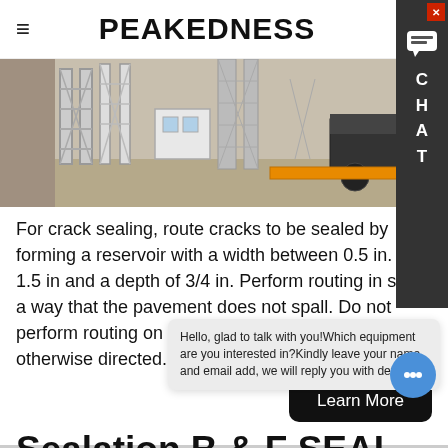PEAKEDNESS
[Figure (photo): Industrial crane or drilling equipment on an open flat landscape, with steel lattice structures and a truck visible]
For crack sealing, route cracks to be sealed by forming a reservoir with a width between 0.5 in. to 1.5 in and a depth of 3/4 in. Perform routing in such a way that the pavement does not spall. Do not perform routing on longitudinal joint cracks unless otherwise directed. 510.03.06 Weather Restrictions.
Seal... B & F SEAL COAT PRO...